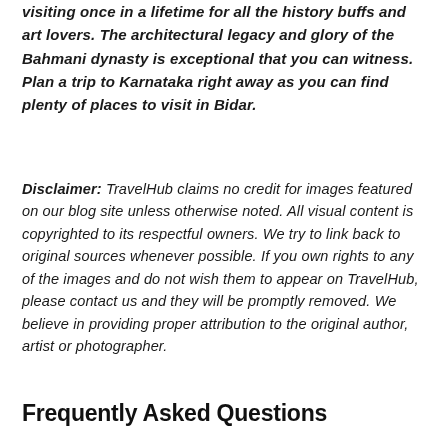visiting once in a lifetime for all the history buffs and art lovers. The architectural legacy and glory of the Bahmani dynasty is exceptional that you can witness. Plan a trip to Karnataka right away as you can find plenty of places to visit in Bidar.
Disclaimer: TravelHub claims no credit for images featured on our blog site unless otherwise noted. All visual content is copyrighted to its respectful owners. We try to link back to original sources whenever possible. If you own rights to any of the images and do not wish them to appear on TravelHub, please contact us and they will be promptly removed. We believe in providing proper attribution to the original author, artist or photographer.
Frequently Asked Questions